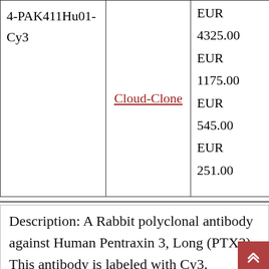| Catalog | Supplier | Price | Size |
| --- | --- | --- | --- |
| 4-PAK411Hu01-Cy3 | Cloud-Clone | EUR 4325.00
EUR 1175.00
EUR 545.00
EUR 251.00 | 100u
10ml
1ml
200u
20ul |
Description: A Rabbit polyclonal antibody against Human Pentraxin 3, Long (PTX3). This antibody is labeled with Cy3.